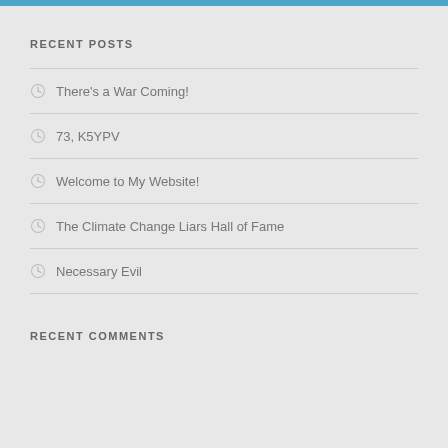RECENT POSTS
There's a War Coming!
73, K5YPV
Welcome to My Website!
The Climate Change Liars Hall of Fame
Necessary Evil
RECENT COMMENTS